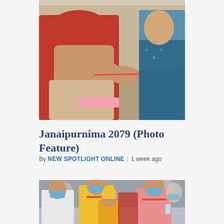[Figure (photo): Close-up photo of a person in a red shirt having a thread/bracelet tied on their wrist during Janaipurnima ritual, with another person visible in background wearing blue.]
Janaipurnima 2079 (Photo Feature)
By NEW SPOTLIGHT ONLINE | 1 week ago
[Figure (photo): Photo of people walking wearing surgical masks at Janaipurnima festival. A woman in yellow traditional dress with a child dressed in yellow-orange Krishna/deity costume in the center, a man in white shirt on the left, and a woman in pink on the right.]